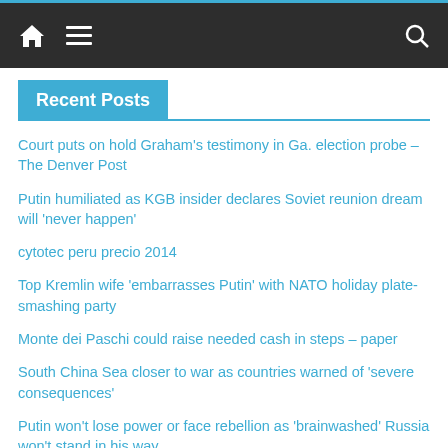Navigation bar with home, menu, and search icons
Recent Posts
Court puts on hold Graham's testimony in Ga. election probe – The Denver Post
Putin humiliated as KGB insider declares Soviet reunion dream will 'never happen'
cytotec peru precio 2014
Top Kremlin wife 'embarrasses Putin' with NATO holiday plate-smashing party
Monte dei Paschi could raise needed cash in steps – paper
South China Sea closer to war as countries warned of 'severe consequences'
Putin won't lose power or face rebellion as 'brainwashed' Russia won't stand in his way
Putin's ally daughter assassinated in car accident 'meant for